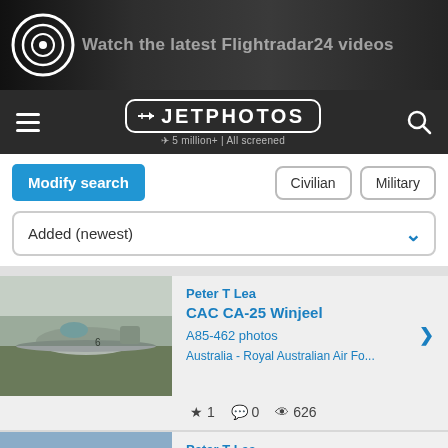[Figure (screenshot): Ad banner for Flightradar24 videos with aircraft nose image and circular logo icon]
[Figure (screenshot): JetPhotos navigation bar with hamburger menu, JetPhotos logo (5 million+ | All screened), and search icon]
Modify search
Civilian | Military
Added (newest)
Peter T Lea
CAC CA-25 Winjeel
A85-462 photos
Australia - Royal Australian Air Fo...
★ 1   💬 0   👁 626
Peter T Lea
Lockheed P-3C Orion
A9-759 photos